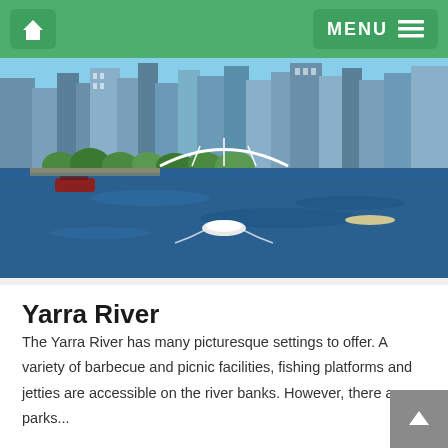Home | MENU
[Figure (photo): Aerial view of the Yarra River in Melbourne, Australia, with cityscape skyline, a curved footbridge, boats on the water, and people along the riverside promenade.]
Yarra River
The Yarra River has many picturesque settings to offer. A variety of barbecue and picnic facilities, fishing platforms and jetties are accessible on the river banks. However, there are parks...